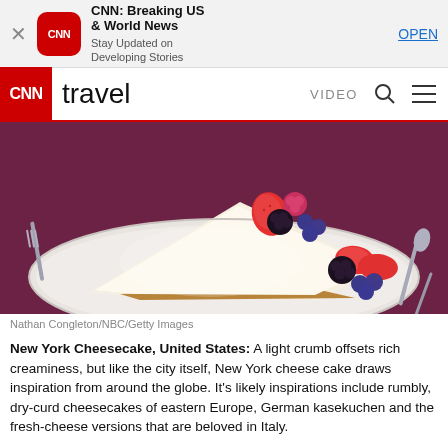[Figure (screenshot): App store banner for CNN Breaking US & World News app with CNN red icon, title, subtitle 'Stay Updated on Developing Stories', and OPEN button]
CNN travel  VIDEO
[Figure (photo): A slice of New York cheesecake topped with strawberries, blackberries, and blueberries on a white plate against a dark purple tablecloth]
Nathan Congleton/NBC/Getty Images
New York Cheesecake, United States: A light crumb offsets rich creaminess, but like the city itself, New York cheese cake draws inspiration from around the globe. It's likely inspirations include rumbly, dry-curd cheesecakes of eastern Europe, German kasekuchen and the fresh-cheese versions that are beloved in Italy.